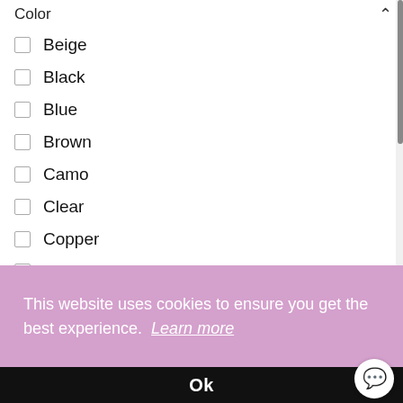Color
Beige
Black
Blue
Brown
Camo
Clear
Copper
Gold
Green
Grey
This website uses cookies to ensure you get the best experience. Learn more
Ok